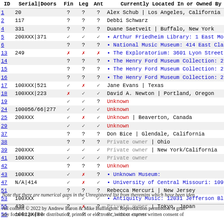| ID | Serial|Doors | Fin | Leg | Ant | Currently Located In or Owned By |
| --- | --- | --- | --- | --- | --- |
| 1 | 20 | ? | ? | ? | Alex Schub | Los Angeles, California |
| 2 | 117 | ? | ? | ? | Debbi Schwarz |
| 4 | 331 | ? | ? | ? | Duane Saetveit | Buffalo, New York |
| 5 | 200XXX|371 | ✓ | ✓ | ✓ | • Arthur Friedheim Library: 1 East Mo |
| 6 |  | ? | ? | ? | • National Music Museum: 414 East Cla |
| 13 | 249 | ✗ | ✗ | ✗ | • The Exploratorium: 3601 Lyon Street |
| 14 |  | ? | ? | ? | • The Henry Ford Museum Collection: 2 |
| 15 |  | ? | ? | ? | • The Henry Ford Museum Collection: 2 |
| 16 |  | ? | ? | ? | • The Henry Ford Museum Collection: 2 |
| 17 | 100XXX|521 | ✓ | ✗ | ✓ | Jane Evans | Texas |
| 18 | 100XXX|223 | ✗ | ✓ | ✓ | David A. Newton | Portland, Oregon |
| 19 |  | ✓ | ✓ | ? | Unknown |
| 24 | 100056/66|277 | ✓ | ✓ | ✓ | Unknown |
| 25 | 200XXX | ✓ | ✗ | ✓ | Unknown | Beaverton, Canada |
| 29 |  | ✓ | ✓ | ✓ | Unknown |
| 37 |  | ? | ? | ? | Don Bice | Glendale, California |
| 38 |  | ? | ? | ? | Private owner | Ohio |
| 39 | 200XXX | ✓ | ✓ | ✓ | Private owner | New York/California |
| 41 | 100XXX | ✓ | ✓ | ✓ | Private owner |
| 42 |  | ? | ? | ? | Unknown |
| 43 | 100XXX | ✓ | ✗ | ? | • Unknown Museum: |
| 47 | N/A|414 | ✓ | ✗ | ✓ | • University of Central Missouri: 109 |
| 51 |  | ? | ? | ? | Rebecca Mercuri | New Jersey |
| 53 | 100XXX | ✓ | ✓ | ✓ | • Antiquity Music: 12031 Jefferson Bl |
| 55 | 439 | ? | ✗ | ? | Private owner | Tokyo, Japan |
| 56 | 10012X|80 | ? | ? | ? | Private owner |
Note that there are numerical gaps in the Unregistered list from theremins which have been iden
All content © 2022 by Andrew Baron & Mike Buffington. Reproduction permission is gran any form for profit or distribution, printed or electronic, without express written consent of